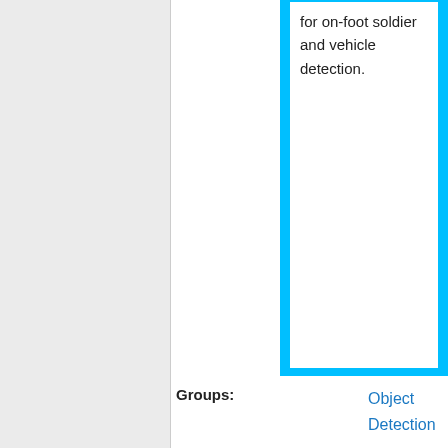[Figure (other): Cyan highlighted box showing text: for on-foot soldier and vehicle detection.]
for on-foot soldier and vehicle detection.
Groups: Object Detection
Syntax
Syntax: position nearEntities radius
Parameters: position: Object or Array in format PositionAGL or Position2D - center of the sphere